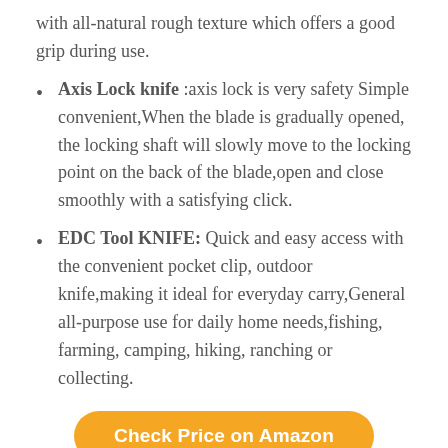with all-natural rough texture which offers a good grip during use.
Axis Lock knife :axis lock is very safety Simple convenient,When the blade is gradually opened, the locking shaft will slowly move to the locking point on the back of the blade,open and close smoothly with a satisfying click.
EDC Tool KNIFE: Quick and easy access with the convenient pocket clip, outdoor knife,making it ideal for everyday carry,General all-purpose use for daily home needs,fishing, farming, camping, hiking, ranching or collecting.
Check Price on Amazon